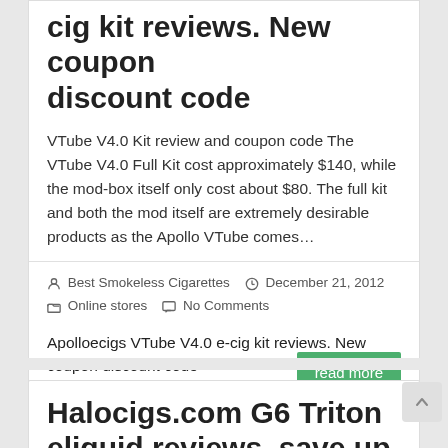cig kit reviews. New coupon discount code
VTube V4.0 Kit review and coupon code The VTube V4.0 Full Kit cost approximately $140, while the mod-box itself only cost about $80. The full kit and both the mod itself are extremely desirable products as the Apollo VTube comes…
Best Smokeless Cigarettes   December 21, 2012   Online stores   No Comments
Apolloecigs VTube V4.0 e-cig kit reviews. New coupon discount code
Halocigs.com G6 Triton eliquid reviews. save up to $40